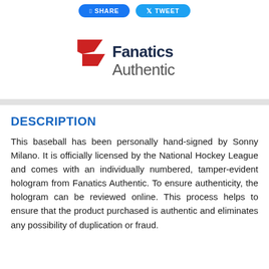[Figure (logo): Fanatics Authentic logo with red chevron/flag icon and dark navy text reading 'Fanatics Authentic']
DESCRIPTION
This baseball has been personally hand-signed by Sonny Milano. It is officially licensed by the National Hockey League and comes with an individually numbered, tamper-evident hologram from Fanatics Authentic. To ensure authenticity, the hologram can be reviewed online. This process helps to ensure that the product purchased is authentic and eliminates any possibility of duplication or fraud.